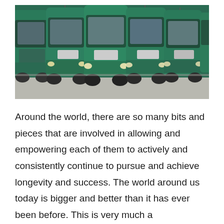[Figure (photo): A row of green semi-trucks (tractor-trailers) parked side by side, viewed from the front, on a paved lot.]
Around the world, there are so many bits and pieces that are involved in allowing and empowering each of them to actively and consistently continue to pursue and achieve longevity and success. The world around us today is bigger and better than it has ever been before. This is very much a corresponding trait that has proven time and again to be